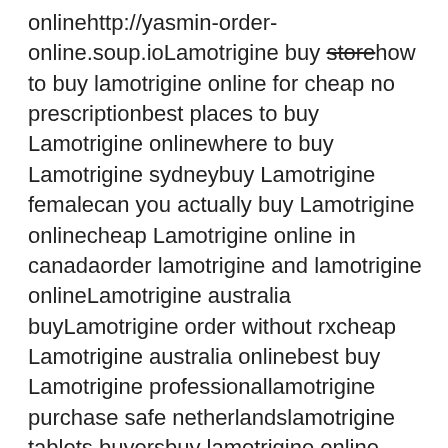onlinehttp://yasmin-order-online.soup.ioLamotrigine buy store how to buy lamotrigine online for cheap no prescriptionbest places to buy Lamotrigine onlinewhere to buy Lamotrigine sydneybuy Lamotrigine femalecan you actually buy Lamotrigine onlinecheap Lamotrigine online in canadaorder lamotrigine and lamotrigine onlineLamotrigine australia buyLamotrigine order without rxcheap Lamotrigine australia onlinebest buy Lamotrigine professionallamotrigine purchase safe netherlandslamotrigine tablets buyersbuy lamotrigine online canada yahoohttp://strattera-10mg-buy-without-rx.id.sthow can you buy lamotrigine canadabuying lamotrigine online americacheaper than Lamotriginedo you need prescription buy lamotrigine canadaLamotrigine for cheap codlamotrigine purchase from mexicobuy Lamotrigine generic pharmacycheap generic lamotrigine shippinglamotrigine 50 mg buy onlinepurchase lamotrigine online cheapwhere to buy Lamotrigine without a rxbuying